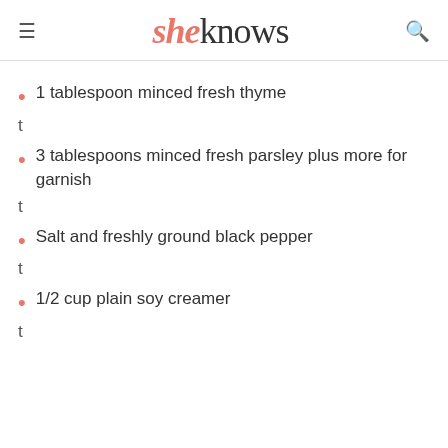sheknows
1 tablespoon minced fresh thyme
t
3 tablespoons minced fresh parsley plus more for garnish
t
Salt and freshly ground black pepper
t
1/2 cup plain soy creamer
t